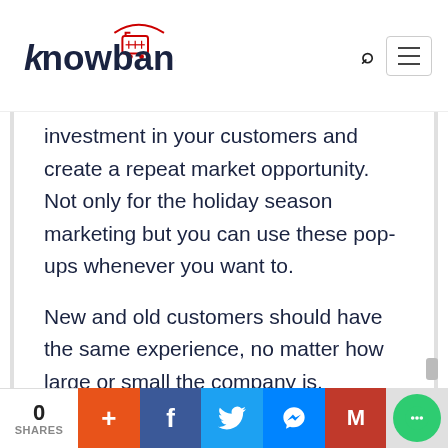Knowband logo, search icon, hamburger menu
investment in your customers and create a repeat market opportunity. Not only for the holiday season marketing but you can use these pop-ups whenever you want to.

New and old customers should have the same experience, no matter how large or small the company is. Consistency can be one of the most
0 SHARES | + | f | Twitter | Messenger | Gmail | Chat